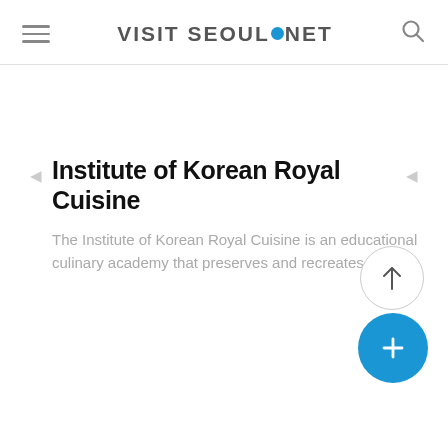VISIT SEOUL.NET
Institute of Korean Royal Cuisine
The Institute of Korean Royal Cuisine is an educational culinary academy that preserves and recreates both...